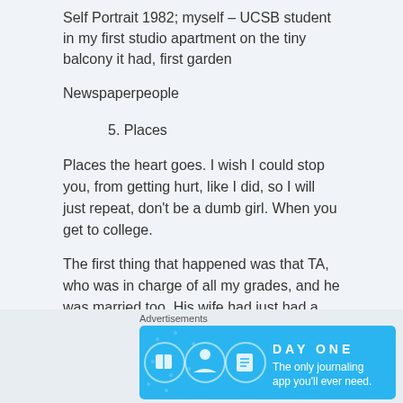Self Portrait 1982; myself – UCSB student in my first studio apartment on the tiny balcony it had, first garden
Newspaperpeople
5. Places
Places the heart goes. I wish I could stop you, from getting hurt, like I did, so I will just repeat, don't be a dumb girl. When you get to college.
The first thing that happened was that TA, who was in charge of all my grades, and he was married too. His wife had just had a baby, and guess who he was following trying to carry her books across the
Advertisements
[Figure (infographic): DAY ONE app advertisement banner with blue background, showing app icon and text 'The only journaling app you'll ever need.']